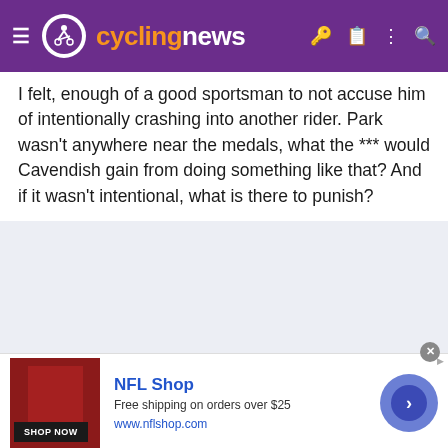cyclingnews
I felt, enough of a good sportsman to not accuse him of intentionally crashing into another rider. Park wasn't anywhere near the medals, what the *** would Cavendish gain from doing something like that? And if it wasn't intentional, what is there to punish?
[Figure (screenshot): NFL Shop advertisement banner with red jersey image, Shop Now button, NFL Shop title, free shipping text, and www.nflshop.com URL, with a blue circular arrow button on the right]